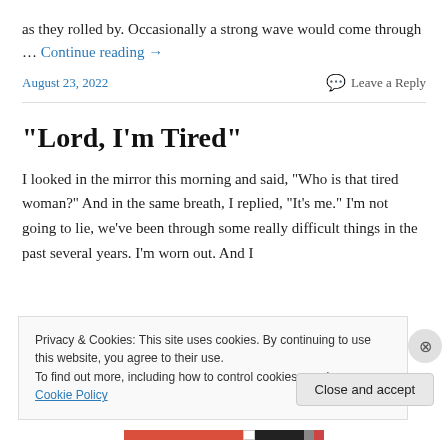as they rolled by. Occasionally a strong wave would come through … Continue reading →
August 23, 2022    Leave a Reply
“Lord, I’m Tired”
I looked in the mirror this morning and said, “Who is that tired woman?” And in the same breath, I replied, “It’s me.” I’m not going to lie, we’ve been through some really difficult things in the past several years. I’m worn out. And I
Privacy & Cookies: This site uses cookies. By continuing to use this website, you agree to their use.
To find out more, including how to control cookies, see here: Cookie Policy
Close and accept